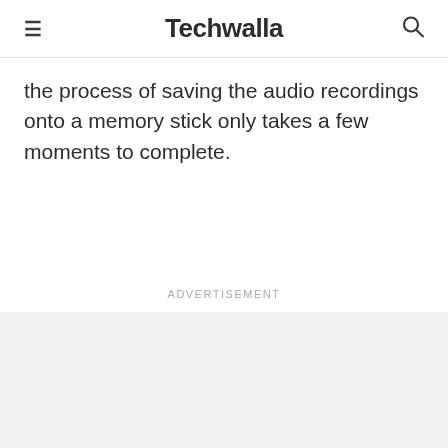Techwalla
the process of saving the audio recordings onto a memory stick only takes a few moments to complete.
Advertisement